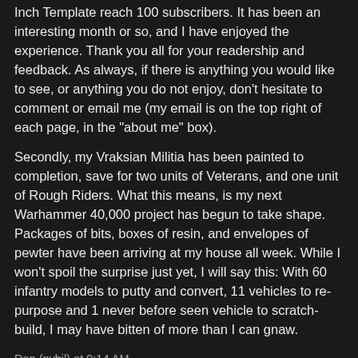Inch Template reach 100 subscribers.  It has been an interesting month or so, and I have enjoyed the experience.  Thank you all for your readership and feedback.  As always, if there is anything you would like to see, or anything you do not enjoy, don't hesitate to comment or email me (my email is on the top right of each page, in the "about me" box).
Secondly, my Vraksian Militia has been painted to completion, save for two units of Veterans, and one unit of Rough Riders.  What this means, is my next Warhammer 40,000 project has begun to take shape.  Packages of bits, boxes of resin, and envelopes of pewter have been arriving at my house all week.  While I won't spoil the surprise just yet, I will say this:  With 60 infantry models to putty and convert, 11 vehicles to re-purpose and 1 never before seen vehicle to scratch-build, I may have bitten of more than I can gnaw.
Dan (nyhil) at 9:14 AM
Share